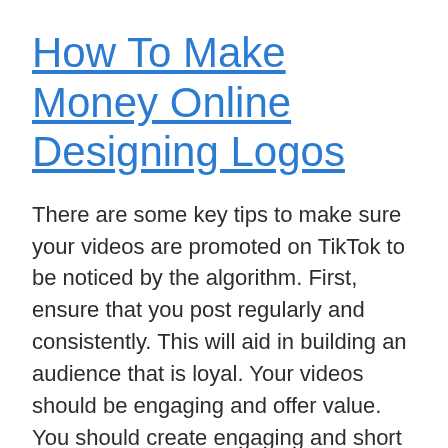How To Make Money Online Designing Logos
There are some key tips to make sure your videos are promoted on TikTok to be noticed by the algorithm. First, ensure that you post regularly and consistently. This will aid in building an audience that is loyal. Your videos should be engaging and offer value. You should create engaging and short videos that people will relate too if you want TikTok to earn money. You can conduct some research about your area to see if there are other people earning money online using